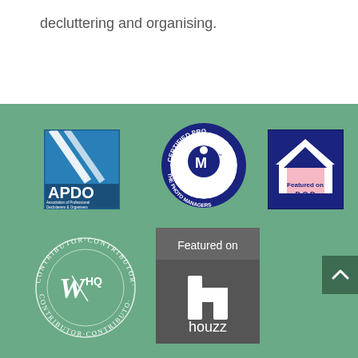decluttering and organising.
[Figure (logo): APDO - Association of Professional Declutterers & Organisers logo: blue square with diagonal white stripes and APDO text]
[Figure (logo): Certified Pro - The Photo Managers circular badge logo in blue and white]
[Figure (logo): Featured on D.O.D logo: house icon with pink roof on navy background]
[Figure (logo): WHQ Contributor circular badge logo in white outline]
[Figure (logo): Featured on Houzz logo: grey square badge with houzz icon and text]